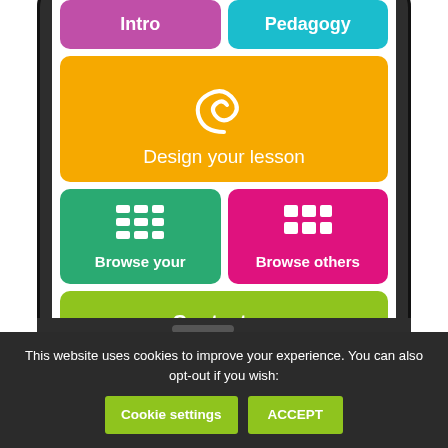[Figure (screenshot): Mobile phone screenshot showing an educational app interface with colorful menu buttons: Intro (purple), Pedagogy (teal), Design your lesson (orange with spiral icon), Browse your (green with list icon), Browse others (pink with grid icon), Contact us (lime green).]
This website uses cookies to improve your experience. You can also opt-out if you wish:
Cookie settings
ACCEPT